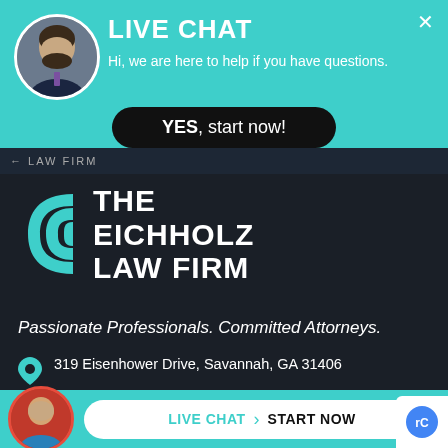LIVE CHAT
Hi, we are here to help if you have questions.
YES, start now!
LAW FIRM
[Figure (logo): The Eichholz Law Firm logo with teal stylized C-shield icon and white bold text]
Passionate Professionals. Committed Attorneys.
319 Eisenhower Drive, Savannah, GA 31406
3200 Riverside Drive, Suite B265, Macon, GA 31210
LIVE CHAT  START NOW